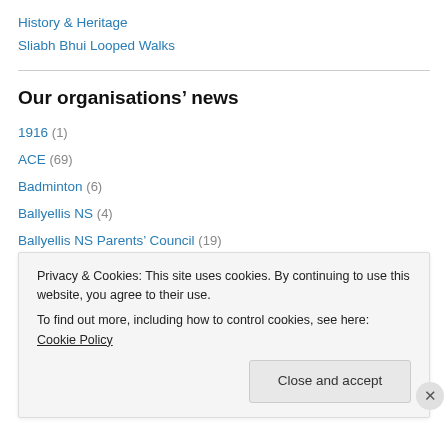History & Heritage
Sliabh Bhui Looped Walks
Our organisations' news
1916 (1)
ACE (69)
Badminton (6)
Ballyellis NS (4)
Ballyellis NS Parents' Council (19)
Biggest Loser (1)
Childcare (7)
Privacy & Cookies: This site uses cookies. By continuing to use this website, you agree to their use. To find out more, including how to control cookies, see here: Cookie Policy
Close and accept